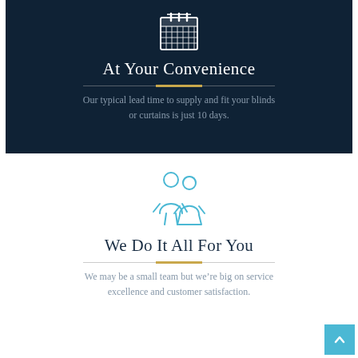[Figure (illustration): Calendar icon in white outline style on dark navy background]
At Your Convenience
Our typical lead time to supply and fit your blinds or curtains is just 10 days.
[Figure (illustration): Two people (couple) outline icon in blue on white background]
We Do It All For You
We may be a small team but we’re big on service excellence and customer satisfaction.